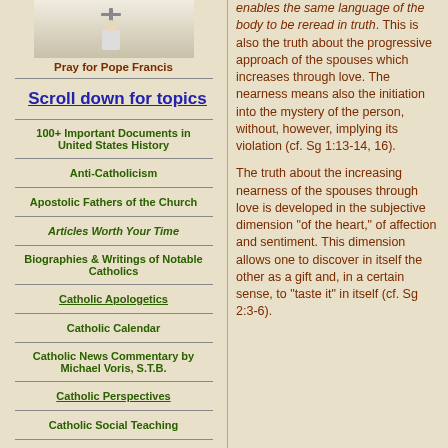[Figure (photo): Image of Pope Francis with a cross, partially visible at top]
Pray for Pope Francis
Scroll down for topics
100+ Important Documents in United States History
Anti-Catholicism
Apostolic Fathers of the Church
Articles Worth Your Time
Biographies & Writings of Notable Catholics
Catholic Apologetics
Catholic Calendar
Catholic News Commentary by Michael Voris, S.T.B.
Catholic Perspectives
Catholic Social Teaching
enables the same language of the body to be reread in truth. This is also the truth about the progressive approach of the spouses which increases through love. The nearness means also the initiation into the mystery of the person, without, however, implying its violation (cf. Sg 1:13-14, 16).
The truth about the increasing nearness of the spouses through love is developed in the subjective dimension "of the heart," of affection and sentiment. This dimension allows one to discover in itself the other as a gift and, in a certain sense, to "taste it" in itself (cf. Sg 2:3-6).